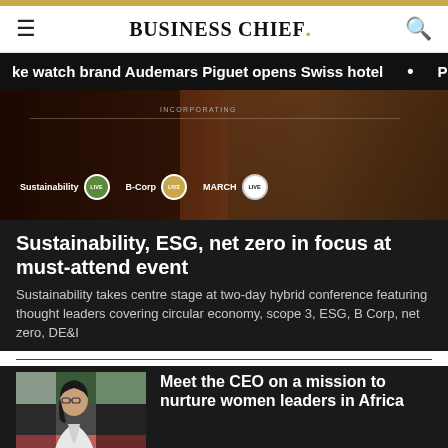BUSINESS CHIEF.
ke watch brand Audemars Piguet opens Swiss hotel  •  P
[Figure (photo): Dark-toned event banner showing Sustainability LIVE, B-Corp LIVE, MARCH LIVE logos with 'INCORPORATING' text and background figures at a conference setting]
Sustainability, ESG, net zero in focus at must-attend event
Sustainability takes centre stage at two-day hybrid conference featuring thought leaders covering circular economy, scope 3, ESG, B Corp, net zero, DE&I
[Figure (photo): Portrait photo of a woman with glasses wearing a white blazer, standing in front of a colorful geometric background]
Meet the CEO on a mission to nurture women leaders in Africa